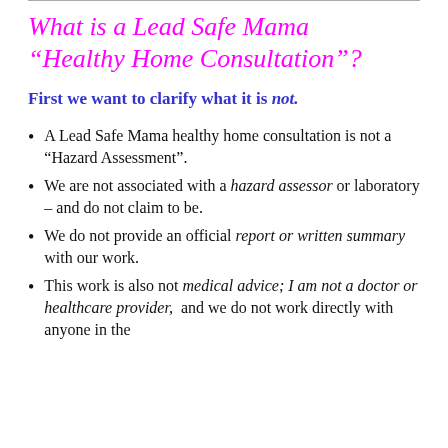What is a Lead Safe Mama "Healthy Home Consultation"?
First we want to clarify what it is not.
A Lead Safe Mama healthy home consultation is not a “Hazard Assessment”.
We are not associated with a hazard assessor or laboratory – and do not claim to be.
We do not provide an official report or written summary with our work.
This work is also not medical advice; I am not a doctor or healthcare provider, and we do not work directly with anyone in the